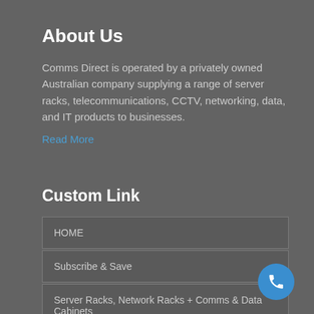About Us
Comms Direct is operated by a privately owned Australian company supplying a range of server racks, telecommunications, CCTV, networking, data, and IT products to businesses.
Read More
Custom Link
HOME
Subscribe & Save
Server Racks, Network Racks + Comms & Data Cabinets
[Figure (other): Blue circular phone call button icon in bottom right corner]